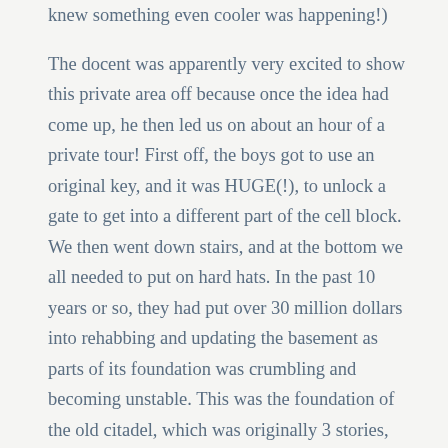knew something even cooler was happening!)

The docent was apparently very excited to show this private area off because once the idea had come up, he then led us on about an hour of a private tour! First off, the boys got to use an original key, and it was HUGE(!), to unlock a gate to get into a different part of the cell block. We then went down stairs, and at the bottom we all needed to put on hard hats. In the past 10 years or so, they had put over 30 million dollars into rehabbing and updating the basement as parts of its foundation was crumbling and becoming unstable. This was the foundation of the old citadel, which was originally 3 stories, but they had gotten rid of the top 2 floors and left the basement. Here we saw where they had at times